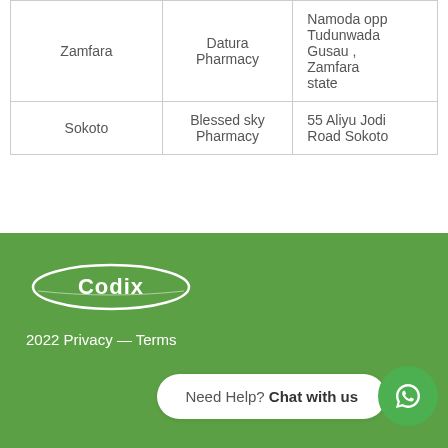| Zamfara | Datura Pharmacy | Namoda opp Tudunwada Gusau , Zamfara state |
| Sokoto | Blessed sky Pharmacy | 55 Aliyu Jodi Road Sokoto |
[Figure (logo): Codix logo in white on green background]
2022 Privacy — Terms
Need Help? Chat with us